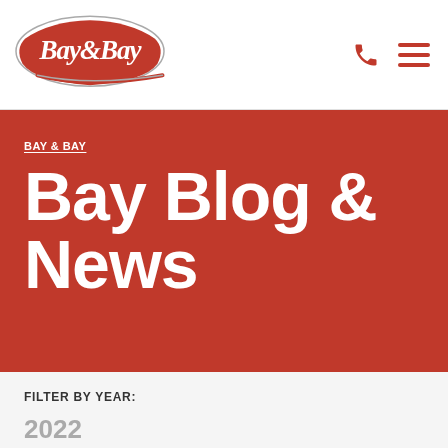[Figure (logo): Bay & Bay Transportation logo — red cursive script with swoosh underline]
BAY & BAY — navigation header with phone icon and hamburger menu
BAY & BAY
Bay Blog & News
FILTER BY YEAR:
2022
2021